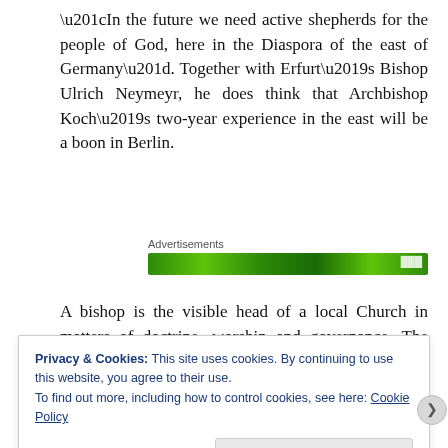“In the future we need active shepherds for the people of God, here in the Diaspora of the east of Germany”. Together with Erfurt’s Bishop Ulrich Neymeyr, he does think that Archbishop Koch’s two-year experience in the east will be a boon in Berlin.
[Figure (other): Green advertisement bar with 'Advertisements' label above it]
A bishop is the visible head of a local Church in matters of doctrine, worship and governance. The priests of a diocese assist him in these tasks. Stability
Privacy & Cookies: This site uses cookies. By continuing to use this website, you agree to their use.
To find out more, including how to control cookies, see here: Cookie Policy
Close and accept